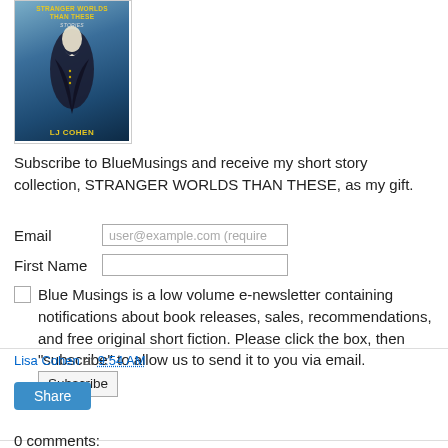[Figure (illustration): Book cover of 'Stranger Worlds Than These' by LJ Cohen, featuring a dark fantasy illustration with a figure in a black coat against a blue background, with yellow title text and author name.]
Subscribe to BlueMusings and receive my short story collection, STRANGER WORLDS THAN THESE, as my gift.
Email [user@example.com (required field)]
First Name [text input]
Blue Musings is a low volume e-newsletter containing notifications about book releases, sales, recommendations, and free original short fiction. Please click the box, then "subscribe" to allow us to send it to you via email. [Subscribe button]
Lisa Cohen at 9:54 AM
Share
0 comments: